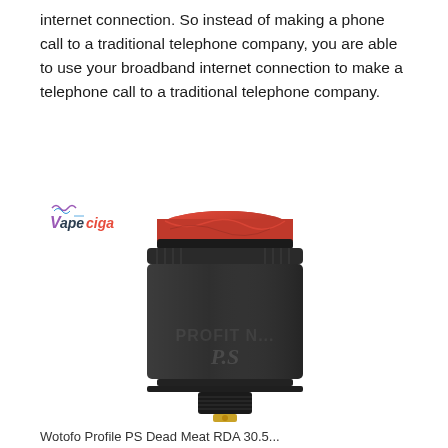internet connection. So instead of making a phone call to a traditional telephone company, you are able to use your broadband internet connection to make a telephone call to a traditional telephone company.
[Figure (logo): Vapeciga brand logo with stylized text and wave/smoke design]
[Figure (photo): Wotofo Profile PS RDA black vape atomizer with red resin drip tip and gold 510 pin connector]
Wotofo Profile PS Dead Meat RDA 30.5...